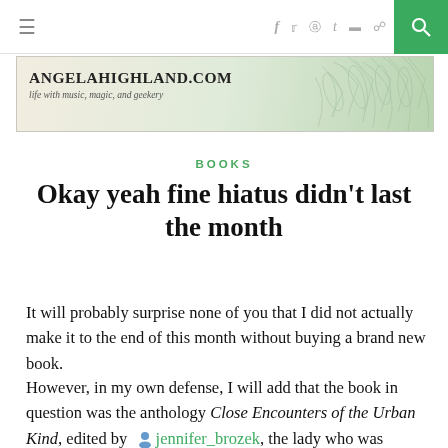≡  f  y  ⊙  t  ☁  ⌂  🔍
[Figure (logo): AngelaHighland.com banner with botanical leaf illustrations. Subtitle: 'life with music, magic, and geekery']
BOOKS
Okay yeah fine hiatus didn't last the month
It will probably surprise none of you that I did not actually make it to the end of this month without buying a brand new book.
However, in my own defense, I will add that the book in question was the anthology Close Encounters of the Urban Kind, edited by  jennifer_brozek, the lady who was hosting the reading I participated in this past Saturday at the Wayward. I wanted to get it not only to support her, but also because